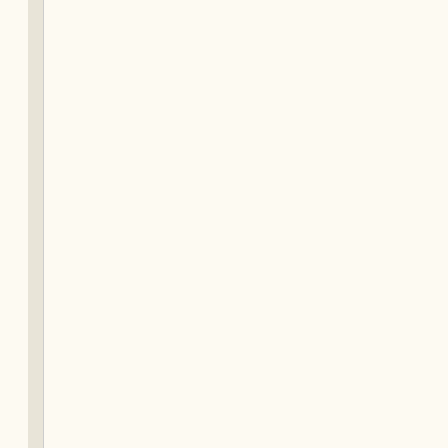lu_m_acs...
2014/03/...
20:57
2.4 ME...
[Figure (photo): Photo of microscopy laboratory equipment with computers and monitors on a bench]
microsco...
3216x21...
2014/01/...
18:16
1.7 ME...
[Figure (other): PDF file icon with red Adobe Acrobat logo]
moves2.p...